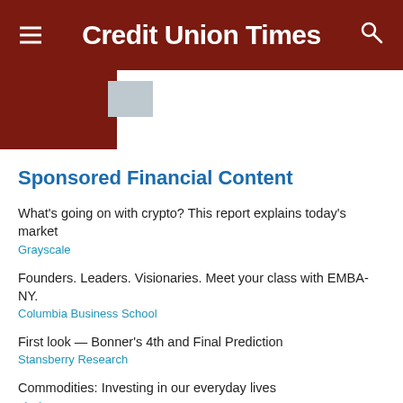Credit Union Times
[Figure (logo): Credit Union Times logo graphic with dark red/maroon squares]
Sponsored Financial Content
What's going on with crypto? This report explains today's market
Grayscale
Founders. Leaders. Visionaries. Meet your class with EMBA-NY.
Columbia Business School
First look — Bonner's 4th and Final Prediction
Stansberry Research
Commodities: Investing in our everyday lives
abrdn